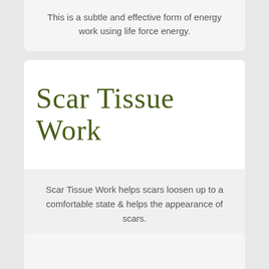This is a subtle and effective form of energy work using life force energy.
Scar Tissue Work
Scar Tissue Work helps scars loosen up to a comfortable state & helps the appearance of scars.